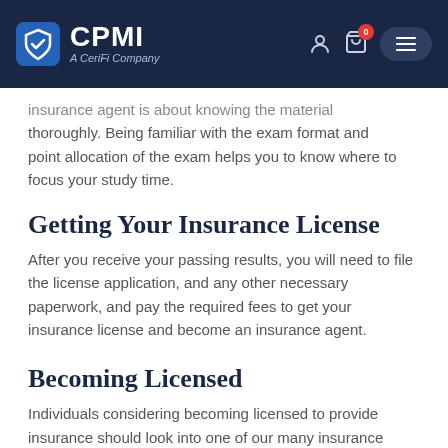CPMI — A CeriFi Company (navigation bar)
insurance agent is about knowing the material thoroughly. Being familiar with the exam format and point allocation of the exam helps you to know where to focus your study time.
Getting Your Insurance License
After you receive your passing results, you will need to file the license application, and any other necessary paperwork, and pay the required fees to get your insurance license and become an insurance agent.
Becoming Licensed
Individuals considering becoming licensed to provide insurance should look into one of our many insurance